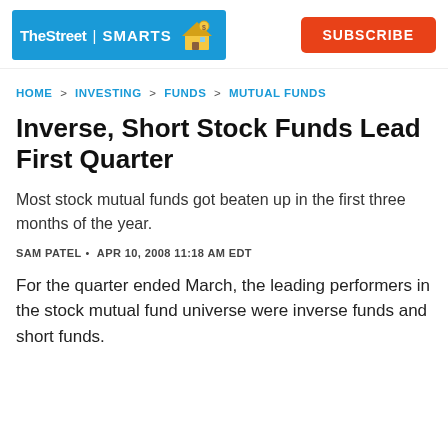TheStreet | SMARTS  SUBSCRIBE
HOME > INVESTING > FUNDS > MUTUAL FUNDS
Inverse, Short Stock Funds Lead First Quarter
Most stock mutual funds got beaten up in the first three months of the year.
SAM PATEL • APR 10, 2008 11:18 AM EDT
For the quarter ended March, the leading performers in the stock mutual fund universe were inverse funds and short funds.